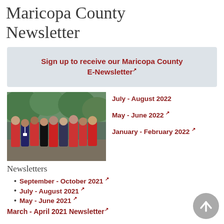Maricopa County Newsletter
Sign up to receive our Maricopa County E-Newsletter
[Figure (photo): Group photo of Maricopa County employees in red and black shirts outdoors]
July - August 2022
May - June 2022
January - February 2022
Newsletters
September - October 2021
July - August 2021
May - June 2021
March - April 2021 Newsletter